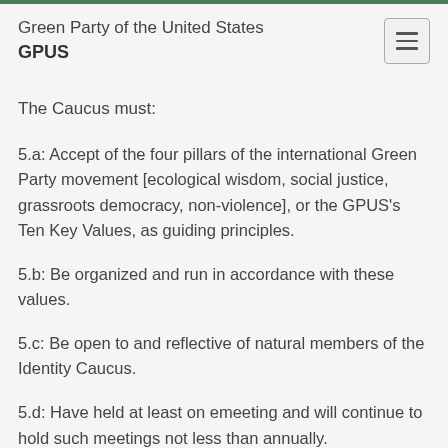Green Party of the United States
GPUS
The Caucus must:
5.a: Accept of the four pillars of the international Green Party movement [ecological wisdom, social justice, grassroots democracy, non-violence], or the GPUS's Ten Key Values, as guiding principles.
5.b: Be organized and run in accordance with these values.
5.c: Be open to and reflective of natural members of the Identity Caucus.
5.d: Have held at least on emeeting and will continue to hold such meetings not less than annually.